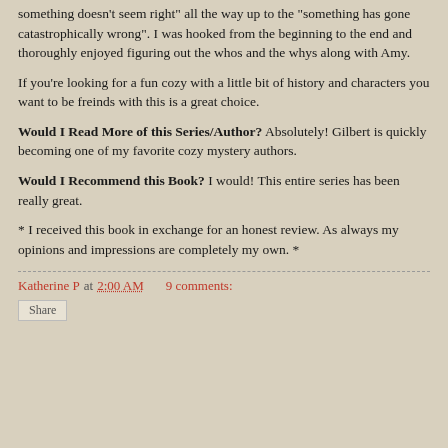something doesn't seem right" all the way up to the "something has gone catastrophically wrong".  I was hooked from the beginning to the end and thoroughly enjoyed figuring out the whos and the whys along with Amy.
If you're looking for a fun cozy with a little bit of history and characters you want to be freinds with this is a great choice.
Would I Read More of this Series/Author?  Absolutely!  Gilbert is quickly becoming one of my favorite cozy mystery authors.
Would I Recommend this Book?  I would!  This entire series has been really great.
* I received this book in exchange for an honest review.  As always my opinions and impressions are completely my own. *
Katherine P at 2:00 AM    9 comments: